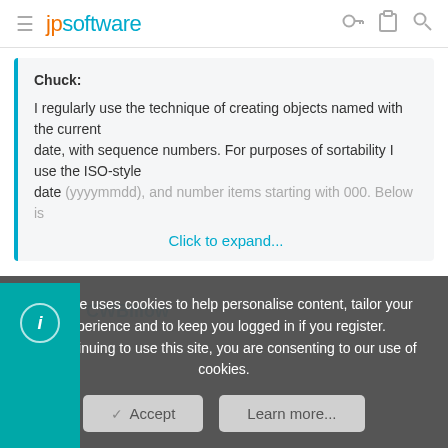jpsoftware
Chuck:

I regularly use the technique of creating objects named with the current date, with sequence numbers. For purposes of sortability I use the ISO-style date (yyyymmdd), and number items starting with 000. Below is
Click to expand...
CWBillow
This site uses cookies to help personalise content, tailor your experience and to keep you logged in if you register.
By continuing to use this site, you are consenting to our use of cookies.
Accept
Learn more...